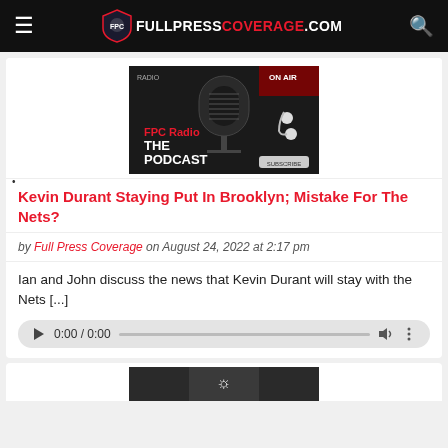FULLPRESS COVERAGE.COM
[Figure (photo): FPC Radio The Podcast promotional image with microphone and earbuds on dark background with red ON AIR sign]
Kevin Durant Staying Put In Brooklyn; Mistake For The Nets?
by Full Press Coverage on August 24, 2022 at 2:17 pm
Ian and John discuss the news that Kevin Durant will stay with the Nets [...]
[Figure (other): Audio player showing 0:00 / 0:00 with play button, progress bar, volume icon, and more options]
[Figure (photo): Partial image visible at bottom of page]